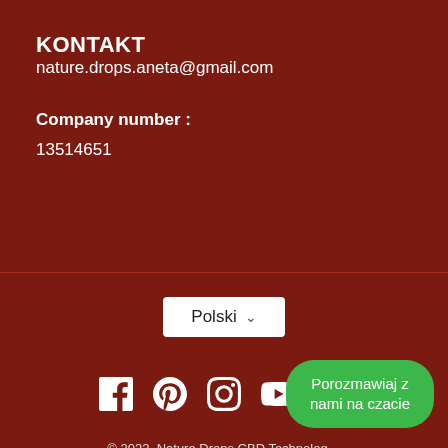KONTAKT
nature.drops.aneta@gmail.com
Company number :
13514651
[Figure (other): Language selector dropdown showing 'Polski' with chevron]
[Figure (other): Social media icons: Facebook, Pinterest, Instagram, YouTube, RSS]
© 2022, Nature Drops CBD Technolog…
Porozmawiaj z nami na czacie